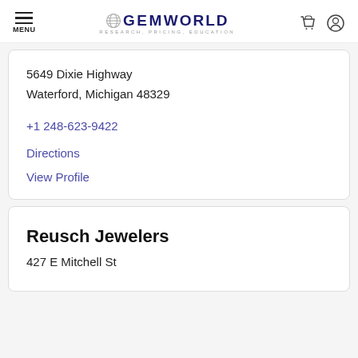MENU | GEMWORLD RESEARCH, PRICING, EDUCATION
5649 Dixie Highway
Waterford, Michigan 48329
+1 248-623-9422
Directions
View Profile
Reusch Jewelers
427 E Mitchell St